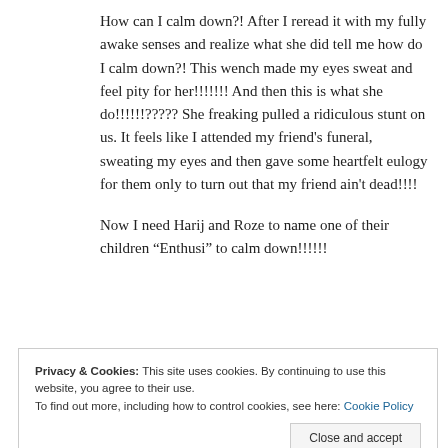How can I calm down?! After I reread it with my fully awake senses and realize what she did tell me how do I calm down?! This wench made my eyes sweat and feel pity for her!!!!!!! And then this is what she do!!!!!!?????? She freaking pulled a ridiculous stunt on us. It feels like I attended my friend's funeral, sweating my eyes and then gave some heartfelt eulogy for them only to turn out that my friend ain't dead!!!!
Now I need Harij and Roze to name one of their children “Enthusi” to calm down!!!!!!
Privacy & Cookies: This site uses cookies. By continuing to use this website, you agree to their use.
To find out more, including how to control cookies, see here: Cookie Policy
Close and accept
Gabe